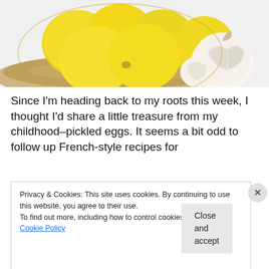[Figure (photo): Close-up photo of yellow lemons in a glass bowl on a burlap cloth, with white garlic bulbs beside them on a white background.]
Since I'm heading back to my roots this week, I thought I'd share a little treasure from my childhood–pickled eggs.  It seems a bit odd to follow up French-style recipes for
Privacy & Cookies: This site uses cookies. By continuing to use this website, you agree to their use.
To find out more, including how to control cookies, see here: Cookie Policy
Close and accept